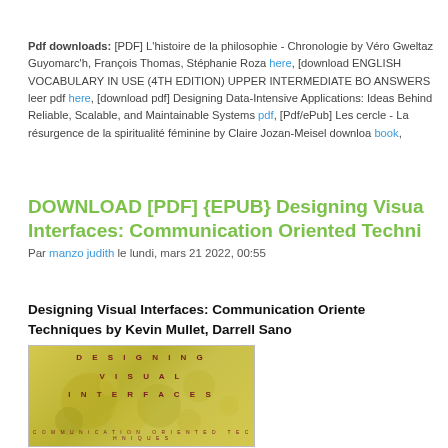Pdf downloads: [PDF] L&#039;histoire de la philosophie - Chronologie by Véro Gweltaz Guyomarc&#039;h, François Thomas, Stéphanie Roza here, [download ENGLISH VOCABULARY IN USE (4TH EDITION) UPPER INTERMEDIATE BO ANSWERS leer pdf here, [download pdf] Designing Data-Intensive Applications: Ideas Behind Reliable, Scalable, and Maintainable Systems pdf, [Pdf/ePub] Les cercle - La résurgence de la spiritualité féminine by Claire Jozan-Meisel downloa book,
DOWNLOAD [PDF] {EPUB} Designing Visual Interfaces: Communication Oriented Techni
Par manzo judith le lundi, mars 21 2022, 00:55
Designing Visual Interfaces: Communication Oriented Techniques by Kevin Mullet, Darrell Sano
[Figure (photo): Book cover of 'Designing Visual Interfaces: Communication Oriented Techniques' with yellow/grey background and red spaced text reading DESIGNING VISUAL INTERFACES]